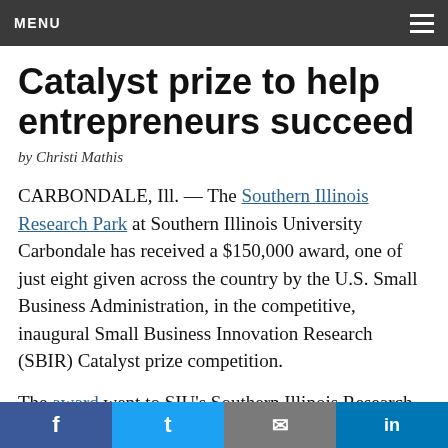MENU
Catalyst prize to help entrepreneurs succeed
by Christi Mathis
CARBONDALE, Ill. — The Southern Illinois Research Park at Southern Illinois University Carbondale has received a $150,000 award, one of just eight given across the country by the U.S. Small Business Administration, in the competitive, inaugural Small Business Innovation Research (SBIR) Catalyst prize competition.
The award went to SIU's Southern Illinois Research Park Corporation, which operates the SIU Research
f  t  (email)  in